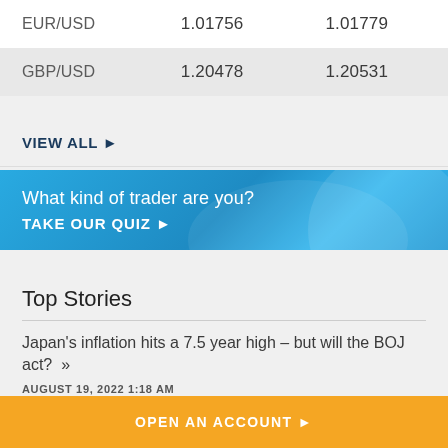|  |  |  |
| --- | --- | --- |
| EUR/USD | 1.01756 | 1.01779 |
| GBP/USD | 1.20478 | 1.20531 |
VIEW ALL ►
[Figure (other): Blue promotional banner with text 'What kind of trader are you?' and CTA 'TAKE OUR QUIZ ►' with circular design elements]
Top Stories
Japan's inflation hits a 7.5 year high – but will the BOJ act? »
AUGUST 19, 2022 1:18 AM
OPEN AN ACCOUNT ►